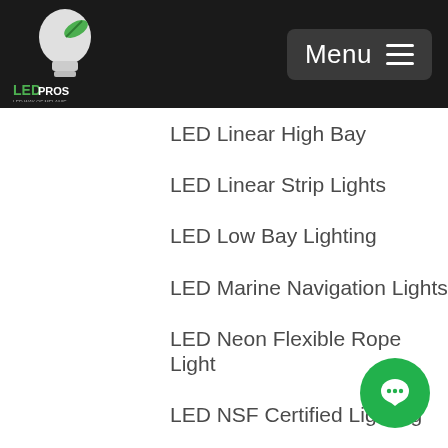LED PROS | Menu
LED Linear High Bay
LED Linear Strip Lights
LED Low Bay Lighting
LED Marine Navigation Lights
LED Neon Flexible Rope Light
LED NSF Certified Lighting
LED Outdoor Marine Nautical Lighting
LED Outdoor Security Light
LED PAR Lamps
LED Parking Garage Lighting
LED Parking Lot Lights
LED PL Lamps
LED Portable Work Lights
LED Post Top Fixtures
[Figure (illustration): Green circle chat button in bottom right corner]